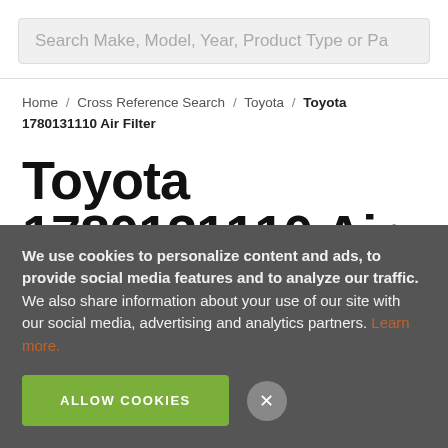Search Make, Model, Year, Product Type or Pa
Home / Cross Reference Search / Toyota / Toyota 1780131110 Air Filter
Toyota 1780131110 Air Filter
We use cookies to personalize content and ads, to provide social media features and to analyze our traffic. We also share information about your use of our site with our social media, advertising and analytics partners. Learn more.